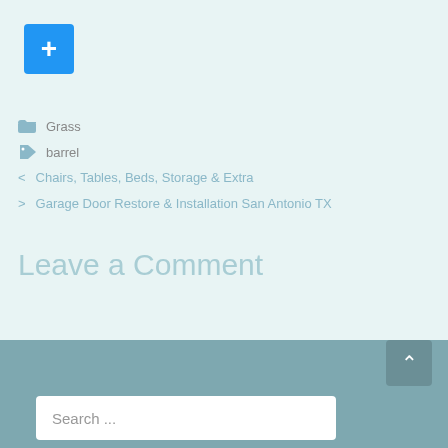[Figure (other): Blue button with white plus sign]
Grass
barrel
< Chairs, Tables, Beds, Storage & Extra
> Garage Door Restore & Installation San Antonio TX
Leave a Comment
You must be logged in to post a comment.
[Figure (screenshot): Footer bar with scroll-to-top button and search box]
Search ...